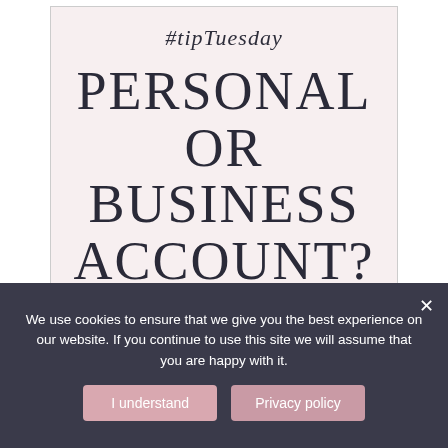[Figure (infographic): Social media post card with pink background. Shows '#tipTuesday' in script font at top, followed by large serif uppercase text 'PERSONAL OR BUSINESS ACCOUNT?', then 'DETAILS IN THE CAPTION' in small caps, and '@EMMAJOHNSONANDCO' handle at bottom with a bookmark icon.]
We use cookies to ensure that we give you the best experience on our website. If you continue to use this site we will assume that you are happy with it.
I understand
Privacy policy